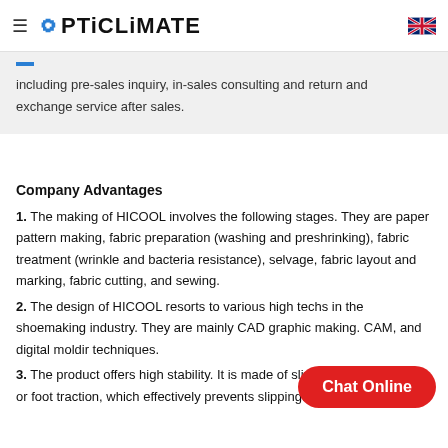OPTICLIMATE
including pre-sales inquiry, in-sales consulting and return and exchange service after sales.
Company Advantages
1. The making of HICOOL involves the following stages. They are paper pattern making, fabric preparation (washing and preshrinking), fabric treatment (wrinkle and bacteria resistance), selvage, fabric layout and marking, fabric cutting, and sewing.
2. The design of HICOOL resorts to various high techs in the shoemaking industry. They are mainly CAD graphic making. CAM, and digital moldir techniques.
3. The product offers high stability. It is made of slip-pro enhance shoe or foot traction, which effectively prevents slipping.